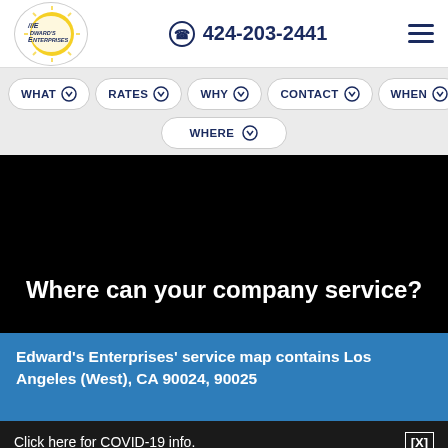Edward's Enterprises | 424-203-2441
WHAT
RATES
WHY
CONTACT
WHEN
WHERE
Where can your company service?
Edward's Enterprises' service map contains Los Angeles (West), CA 90024, 90025
Click here for COVID-19 info.